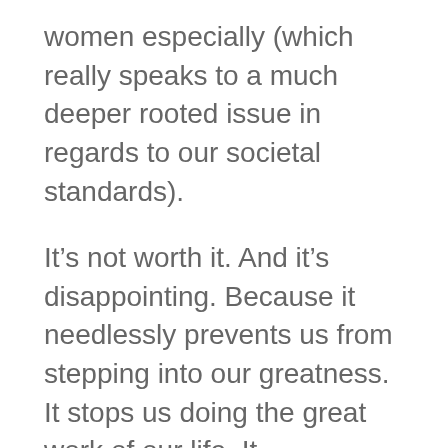women especially (which really speaks to a much deeper rooted issue in regards to our societal standards).
It’s not worth it. And it’s disappointing. Because it needlessly prevents us from stepping into our greatness. It stops us doing the great work of our life. It perpetuates anxiety and low self worth.
In this blog post, I offer us a few suggestions on how to slowly dismantle and quieten the voice in our head that